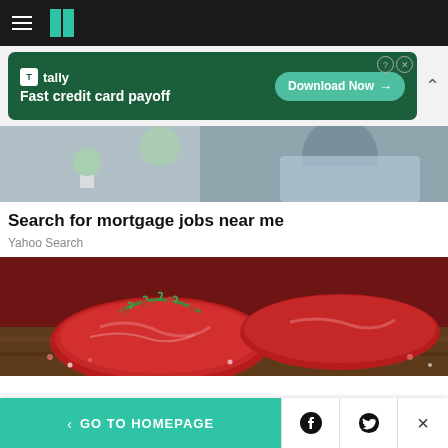HuffPost navigation bar with hamburger menu and logo
[Figure (photo): Tally advertisement banner: Fast credit card payoff, Download Now button]
[Figure (photo): Partial photo of a man in a blue shirt looking down, cropped at shoulder level]
Search for mortgage jobs near me
Yahoo Search
[Figure (photo): Raw red meat steaks with rosemary sprigs and pink peppercorns on a dark wooden surface]
GO TO HOMEPAGE | Facebook share | Twitter share | Close